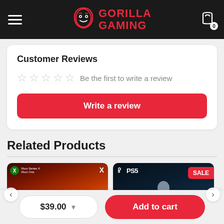Gorilla Gaming
Customer Reviews
Be the first to write a review
Write a review
Related Products
[Figure (screenshot): Tiny Tina's Wonderlands game cover for Xbox Series X / Xbox One]
[Figure (screenshot): PS5 game cover with SALE badge]
$39.00
Add to cart